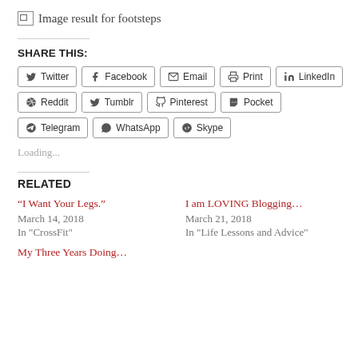[Figure (other): Broken image placeholder with alt text 'Image result for footsteps']
SHARE THIS:
Twitter
Facebook
Email
Print
LinkedIn
Reddit
Tumblr
Pinterest
Pocket
Telegram
WhatsApp
Skype
Loading...
RELATED
“I Want Your Legs.”
March 14, 2018
In "CrossFit"
I am LOVING Blogging...
March 21, 2018
In "Life Lessons and Advice"
My Three Years Doing...